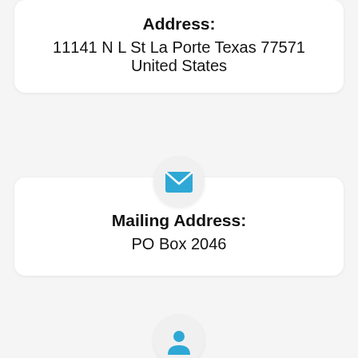Address: 11141 N L St La Porte Texas 77571 United States
[Figure (illustration): Blue envelope icon in a light gray circle, representing mailing address]
Mailing Address: PO Box 2046
[Figure (illustration): Partial blue person/contact icon in a light gray circle at the bottom of the page]